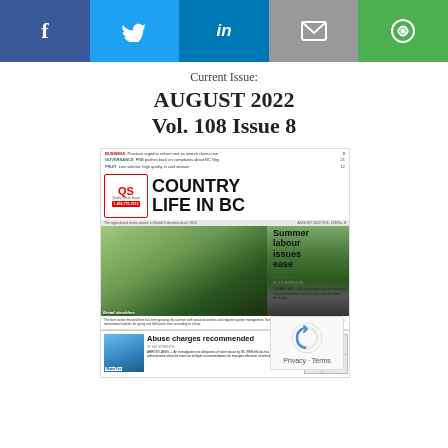[Figure (infographic): Social media share bar with Facebook, Twitter, LinkedIn, Email, and RSS/Share icons]
Current Issue:
AUGUST 2022
Vol. 108 Issue 8
[Figure (photo): Thumbnail of Country Life in BC magazine cover for August 2022, Vol. 108 No. 8, featuring a woman holding corn in a field with a farm building in the background. Headlines include 'Summer labour issues ease' and 'Abuse charges recommended'.]